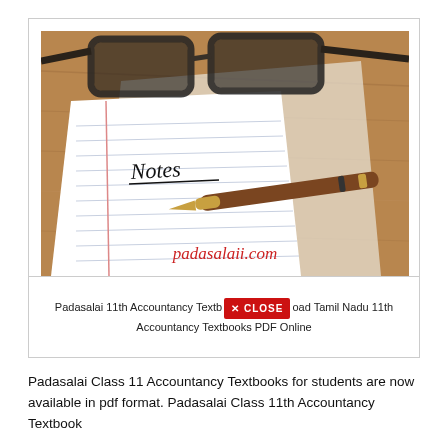[Figure (photo): Photo of an open notebook with 'Notes' written on it, a fountain pen resting on it, and glasses in the background on a wooden surface. Watermark text 'padasalaii.com' in red italic at the bottom of the photo.]
Padasalai 11th Accountancy Textbook Download Tamil Nadu 11th Accountancy Textbooks PDF Online
Padasalai Class 11 Accountancy Textbooks for students are now available in pdf format. Padasalai Class 11th Accountancy Textbook